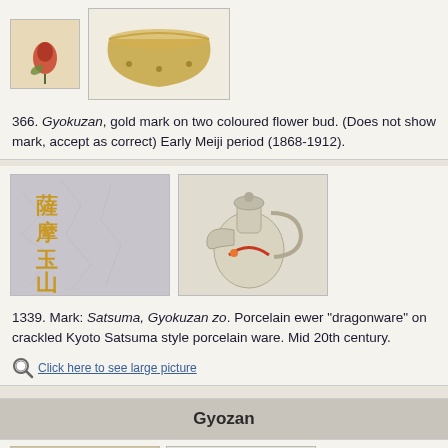[Figure (photo): Two images: a small square tile with a red flower bud mark, and a gold-decorated bowl on white background]
366. Gyokuzan, gold mark on two coloured flower bud. (Does not show mark, accept as correct) Early Meiji period (1868-1912).
[Figure (photo): Two images side by side: left shows Japanese characters mark (Satsuma Gyokuzan zo) on crackled background; right shows a porcelain ewer dragonware piece]
1339. Mark: Satsuma, Gyokuzan zo. Porcelain ewer "dragonware" on crackled Kyoto Satsuma style porcelain ware. Mid 20th century.
Click here to see large picture
Gyozan
[Figure (photo): Two images: left shows Japanese characters on textured background; right shows black ink painting of bamboo/willow]